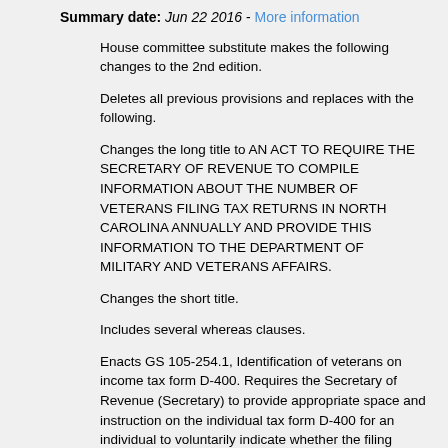Summary date: Jun 22 2016 - More information
House committee substitute makes the following changes to the 2nd edition.
Deletes all previous provisions and replaces with the following.
Changes the long title to AN ACT TO REQUIRE THE SECRETARY OF REVENUE TO COMPILE INFORMATION ABOUT THE NUMBER OF VETERANS FILING TAX RETURNS IN NORTH CAROLINA ANNUALLY AND PROVIDE THIS INFORMATION TO THE DEPARTMENT OF MILITARY AND VETERANS AFFAIRS.
Changes the short title.
Includes several whereas clauses.
Enacts GS 105-254.1, Identification of veterans on income tax form D-400. Requires the Secretary of Revenue (Secretary) to provide appropriate space and instruction on the individual tax form D-400 for an individual to voluntarily indicate whether the filing individual is a veteran, and on a joint return, whether the individual's spouse is a veteran. Defines veteran to mean a person as defined in GS 143B-1281.